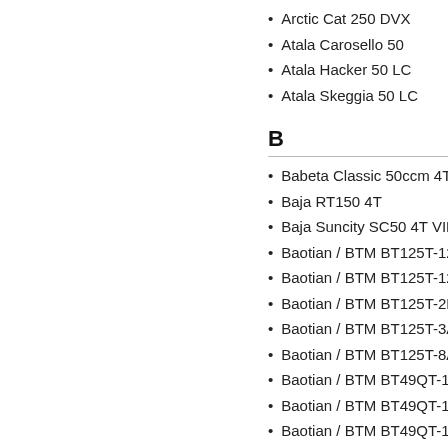Arctic Cat 250 DVX
Atala Carosello 50
Atala Hacker 50 LC
Atala Skeggia 50 LC
B
Babeta Classic 50ccm 4T AC
Baja RT150 4T
Baja Suncity SC50 4T VIN LAW / L
Baotian / BTM BT125T-12C1 B010
Baotian / BTM BT125T-12F1 Tanco
Baotian / BTM BT125T-2B2
Baotian / BTM BT125T-3A4
Baotian / BTM BT125T-8A
Baotian / BTM BT49QT-11 Retro
Baotian / BTM BT49QT-12C1
Baotian / BTM BT49QT-12E Rocky
Baotian / BTM BT49QT-12G
Baotian / BTM BT49QT-18C1 B010
Baotian / BTM BT49QT-18F1 Tanco
Baotian / BTM BT49QT-20C (1E40
Baotian / BTM BT49QT-2A Big Pan
Baotian / BTM BT49QT-3
Baotian / BTM BT49QT-6A4